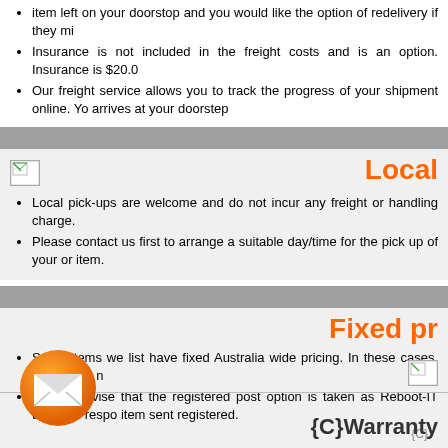item left on your doorstop and you would like the option of redelivery if they mi
Insurance is not included in the freight costs and is an option. Insurance is $20.00
Our freight service allows you to track the progress of your shipment online. Yo arrives at your doorstep
Local
Local pick-ups are welcome and do not incur any freight or handling charge.
Please contact us first to arrange a suitable day/time for the pick up of your or item.
Fixed pr
Some items we list have fixed Australia wide pricing. In these cases, there is no n
We do advise that the registered post option is taken as Reboot-IT takes no respo item sent registered.
{C}
[Figure (illustration): Small broken image placeholder icon]
[Figure (illustration): Orange circle with white envelope/mail icon]
{C}Warranty